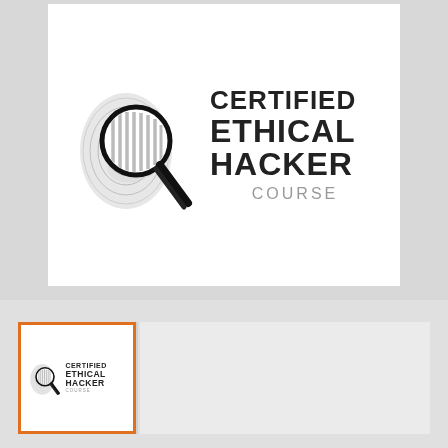[Figure (logo): Certified Ethical Hacker Course logo — large version. A fingerprint with a magnifying glass overlaid, beside bold text reading CERTIFIED ETHICAL HACKER COURSE.]
[Figure (logo): Certified Ethical Hacker Course logo — small thumbnail version inside an orange-bordered box. Same fingerprint/magnifier icon with smaller text.]